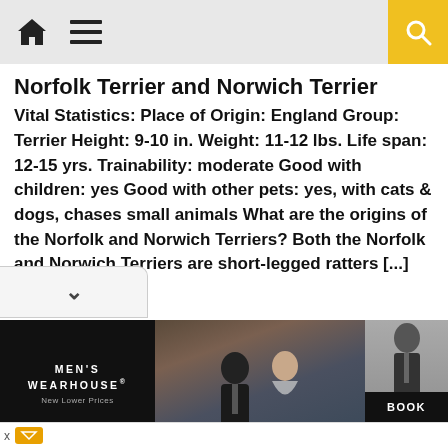Navigation header with home icon, menu icon, and search button
Norfolk Terrier and Norwich Terrier
Vital Statistics: Place of Origin: England Group: Terrier Height: 9-10 in. Weight: 11-12 lbs. Life span: 12-15 yrs. Trainability: moderate Good with children: yes Good with other pets: yes, with cats & dogs, chases small animals What are the origins of the Norfolk and Norwich Terriers? Both the Norfolk and Norwich Terriers are short-legged ratters [...]
[Figure (photo): Advertisement banner for Men's Wearhouse featuring a couple in formal wear and a man in a tuxedo, with a BOOK button]